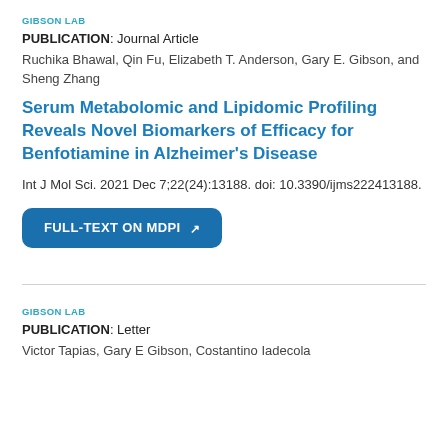GIBSON LAB
PUBLICATION: Journal Article
Ruchika Bhawal, Qin Fu, Elizabeth T. Anderson, Gary E. Gibson, and Sheng Zhang
Serum Metabolomic and Lipidomic Profiling Reveals Novel Biomarkers of Efficacy for Benfotiamine in Alzheimer’s Disease
Int J Mol Sci. 2021 Dec 7;22(24):13188. doi: 10.3390/ijms222413188.
FULL-TEXT ON MDPI
GIBSON LAB
PUBLICATION: Letter
Victor Tapias, Gary E Gibson, Costantino Iadecola